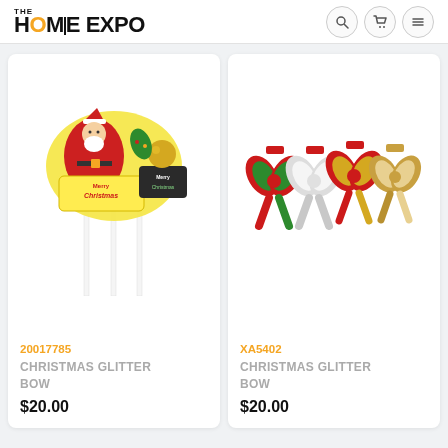THE HOME EXPO
[Figure (photo): Christmas glitter pick set with Santa Claus and Merry Christmas signs on white sticks]
20017785
CHRISTMAS GLITTER BOW
$20.00
[Figure (photo): Set of four Christmas bows in red/green, white, red/gold, and gold/cream colors]
XA5402
CHRISTMAS GLITTER BOW
$20.00